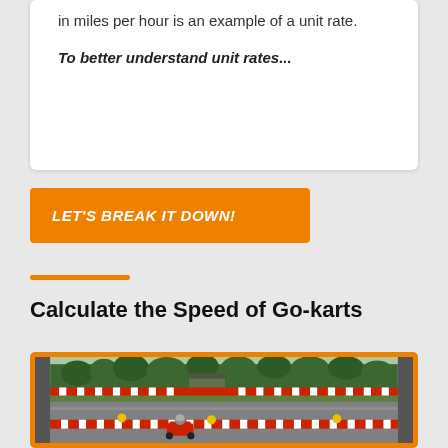in miles per hour is an example of a unit rate.
To better understand unit rates...
LET'S BREAK IT DOWN!
Calculate the Speed of Go-karts
[Figure (photo): A go-kart racing track with red and white tire barriers, yellow bollards, trees in the background, and a go-kart with a rider on the track.]